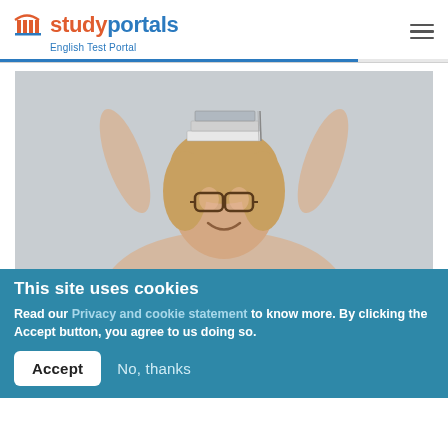studyportals — English Test Portal
[Figure (photo): Young woman with glasses smiling, balancing books on her head with both hands raised, against a light grey background]
This site uses cookies
Read our Privacy and cookie statement to know more. By clicking the Accept button, you agree to us doing so.
Accept   No, thanks